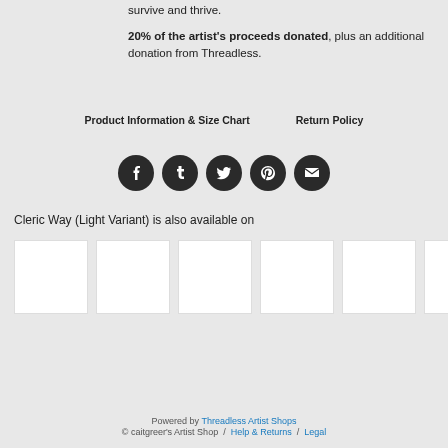survive and thrive.
20% of the artist's proceeds donated, plus an additional donation from Threadless.
Product Information & Size Chart    Return Policy
[Figure (other): Row of 5 social media icon buttons (Facebook, Tumblr, Twitter, Pinterest, Email) as dark circular buttons]
Cleric Way (Light Variant) is also available on
[Figure (other): Row of 6 white thumbnail product images]
Powered by Threadless Artist Shops
© caitgreer's Artist Shop / Help & Returns / Legal